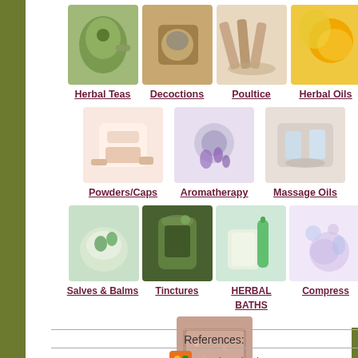[Figure (photo): Grid of herbal remedy photos: Herbal Teas (teapot), Decoctions (bowl/mixer), Poultice (hands/sticks), Herbal Oils (sunflower/oil), Powders/Caps (capsules/powder), Aromatherapy (jar with flowers), Massage Oils (massage), Salves & Balms (cream with herb), Tinctures (green jar), HERBAL BATHS (soap/bamboo), Compress (spa bowl), Cough Syrups/drops (herbal mixture)]
Herbal Teas
Decoctions
Poultice
Herbal Oils
Powders/Caps
Aromatherapy
Massage Oils
Salves & Balms
Tinctures
HERBAL BATHS
Compress
Cough Syrups/drops
References:
Works Cited